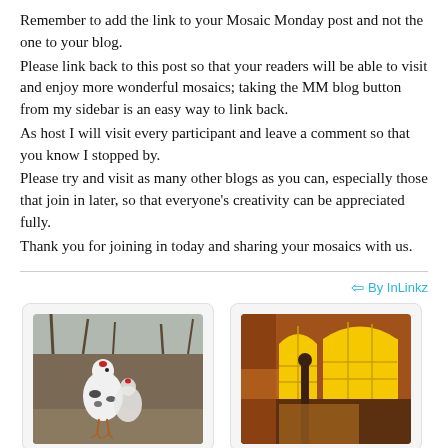Remember to add the link to your Mosaic Monday post and not the one to your blog.
Please link back to this post so that your readers will be able to visit and enjoy more wonderful mosaics; taking the MM blog button from my sidebar is an easy way to link back.
As host I will visit every participant and leave a comment so that you know I stopped by.
Please try and visit as many other blogs as you can, especially those that join in later, so that everyone's creativity can be appreciated fully.
Thank you for joining in today and sharing your mosaics with us.
[Figure (other): By InLinkz branding link with arrow icon]
[Figure (photo): White bird (guinea fowl) standing outdoors among bare trees]
[Figure (photo): Interior room with orange/brown walls and yellow arched windows casting light patterns]